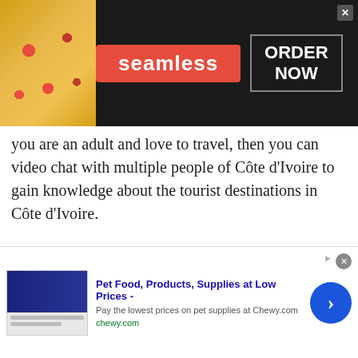[Figure (screenshot): Seamless food delivery advertisement banner with pizza image on left, red Seamless logo badge in center, and ORDER NOW button in bordered box on right, dark background]
you are an adult and love to travel, then you can video chat with multiple people of Côte d'Ivoire to gain knowledge about the tourist destinations in Côte d'Ivoire.
Keeping in view this scenario, other genders all around the world gets to face extreme discrimination, mental and physical abuse by the locals. People regard gay or lesbian couple as a disgrace to the society. This is one of the reasons why these people are socially isolated. Nobody likes
[Figure (screenshot): Pet food advertisement banner from Chewy.com: 'Pet Food, Products, Supplies at Low Prices - Pay the lowest prices on pet supplies at Chewy.com' with blue arrow button on right]